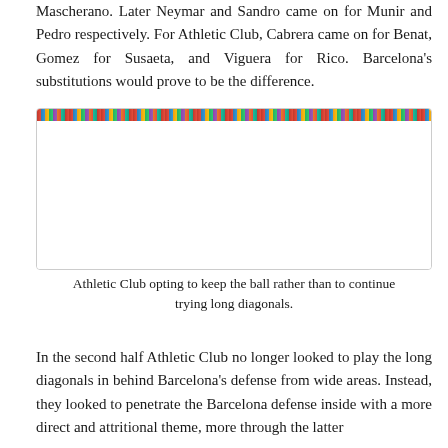Mascherano. Later Neymar and Sandro came on for Munir and Pedro respectively. For Athletic Club, Cabrera came on for Benat, Gomez for Susaeta, and Viguera for Rico. Barcelona's substitutions would prove to be the difference.
[Figure (photo): A crowd scene photo shown as a narrow banner strip, largely white space below it. The image is partially visible at the top of the figure box.]
Athletic Club opting to keep the ball rather than to continue trying long diagonals.
In the second half Athletic Club no longer looked to play the long diagonals in behind Barcelona's defense from wide areas. Instead, they looked to penetrate the Barcelona defense inside with a more direct and attritional theme, more through the latter